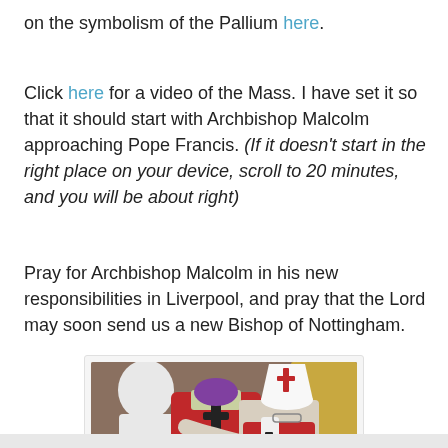on the symbolism of the Pallium here.
Click here for a video of the Mass. I have set it so that it should start with Archbishop Malcolm approaching Pope Francis. (If it doesn't start in the right place on your device, scroll to 20 minutes, and you will be about right)
Pray for Archbishop Malcolm in his new responsibilities in Liverpool, and pray that the Lord may soon send us a new Bishop of Nottingham.
[Figure (photo): Photo showing Archbishop in red vestments and purple zucchetto being embraced by Pope Francis in white papal vestments and mitre, with CTV watermark visible.]